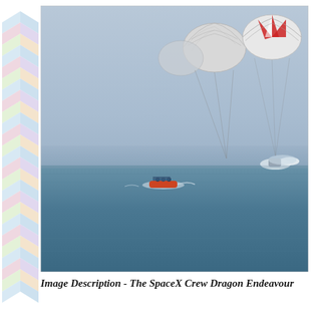[Figure (photo): SpaceX Crew Dragon Endeavour spacecraft with four parachutes deployed descending toward the ocean. A recovery boat with crew is visible in the water speeding toward the splashdown location. The sky is hazy blue-grey and the ocean is deep blue. Another vessel or splash is visible on the right side of the image.]
Image Description - The SpaceX Crew Dragon Endeavour